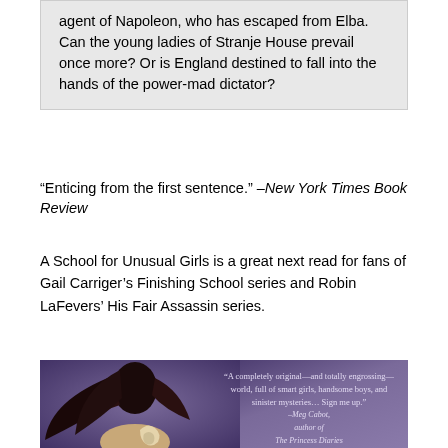agent of Napoleon, who has escaped from Elba. Can the young ladies of Stranje House prevail once more? Or is England destined to fall into the hands of the power-mad dictator?
“Enticing from the first sentence.” –New York Times Book Review
A School for Unusual Girls is a great next read for fans of Gail Carriger’s Finishing School series and Robin LaFevers’ His Fair Assassin series.
[Figure (illustration): Book cover image on purple/violet background showing a silhouette of a girl with flowing dark hair, and a pull quote: 'A completely original—and totally engrossing—world, full of smart girls, handsome boys, and sinister mysteries... Sign me up.' –Meg Cabot, author of The Princess Diaries]